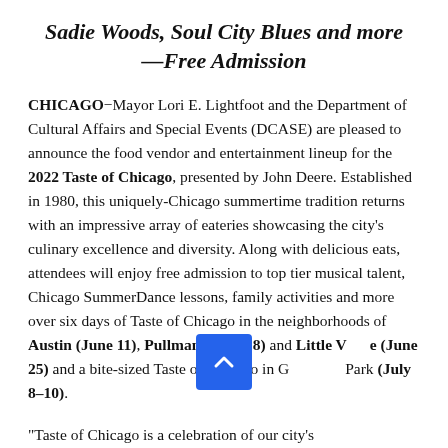Sadie Woods, Soul City Blues and more—Free Admission
CHICAGO—Mayor Lori E. Lightfoot and the Department of Cultural Affairs and Special Events (DCASE) are pleased to announce the food vendor and entertainment lineup for the 2022 Taste of Chicago, presented by John Deere. Established in 1980, this uniquely-Chicago summertime tradition returns with an impressive array of eateries showcasing the city's culinary excellence and diversity. Along with delicious eats, attendees will enjoy free admission to top tier musical talent, Chicago SummerDance lessons, family activities and more over six days of Taste of Chicago in the neighborhoods of Austin (June 11), Pullman (June 18) and Little Village (June 25) and a bite-sized Taste of Chicago in Grant Park (July 8–10).
“Taste of Chicago is a celebration of our city’s